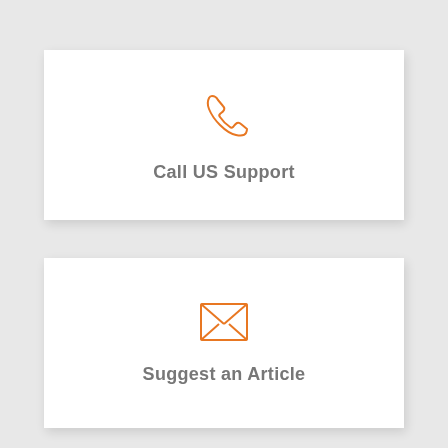[Figure (illustration): Orange outline phone/telephone handset icon]
Call US Support
[Figure (illustration): Orange outline envelope/mail icon]
Suggest an Article